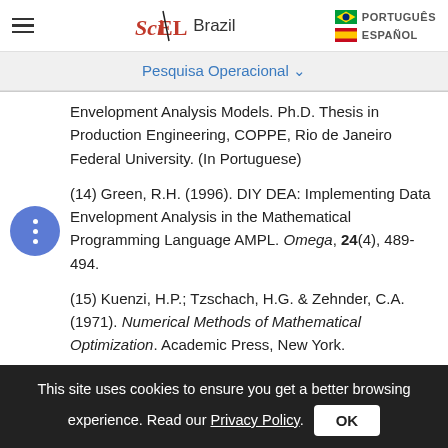SciELO Brazil | PORTUGUÊS | ESPAÑOL
Pesquisa Operacional
Envelopment Analysis Models. Ph.D. Thesis in Production Engineering, COPPE, Rio de Janeiro Federal University. (In Portuguese)
(14) Green, R.H. (1996). DIY DEA: Implementing Data Envelopment Analysis in the Mathematical Programming Language AMPL. Omega, 24(4), 489-494.
(15) Kuenzi, H.P.; Tzschach, H.G. & Zehnder, C.A. (1971). Numerical Methods of Mathematical Optimization. Academic Press, New York.
This site uses cookies to ensure you get a better browsing experience. Read our Privacy Policy. OK